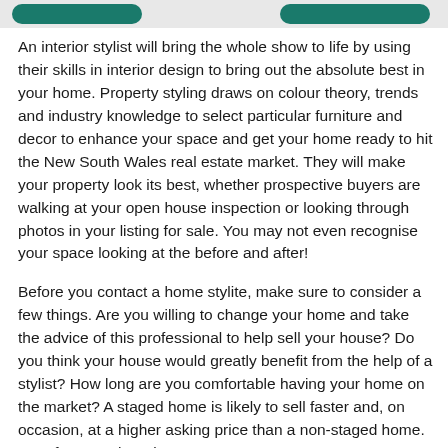[navigation bar with teal buttons]
An interior stylist will bring the whole show to life by using their skills in interior design to bring out the absolute best in your home. Property styling draws on colour theory, trends and industry knowledge to select particular furniture and decor to enhance your space and get your home ready to hit the New South Wales real estate market. They will make your property look its best, whether prospective buyers are walking at your open house inspection or looking through photos in your listing for sale. You may not even recognise your space looking at the before and after!
Before you contact a home stylite, make sure to consider a few things. Are you willing to change your home and take the advice of this professional to help sell your house? Do you think your house would greatly benefit from the help of a stylist? How long are you comfortable having your home on the market? A staged home is likely to sell faster and, on occasion, at a higher asking price than a non-staged home. But of course there is no guarantee.